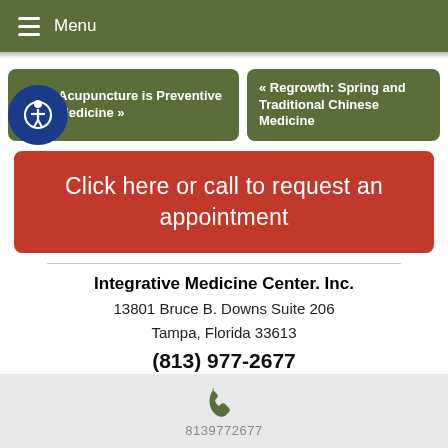Menu
Acupuncture is Preventive Medicine »
« Regrowth: Spring and Traditional Chinese Medicine
Click here or call to request an appointment
Integrative Medicine Center. Inc.
13801 Bruce B. Downs Suite 206
Tampa, Florida 33613
(813) 977-2677
8139772677